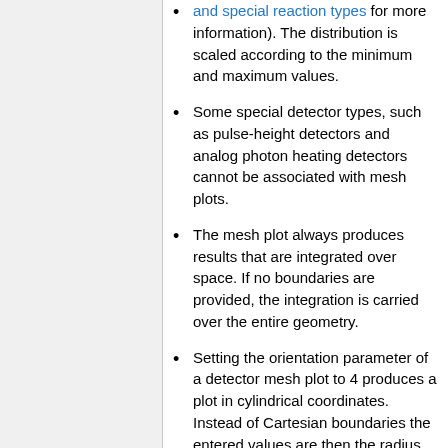and special reaction types for more information). The distribution is scaled according to the minimum and maximum values.
Some special detector types, such as pulse-height detectors and analog photon heating detectors cannot be associated with mesh plots.
The mesh plot always produces results that are integrated over space. If no boundaries are provided, the integration is carried over the entire geometry.
Setting the orientation parameter of a detector mesh plot to 4 produces a plot in cylindrical coordinates. Instead of Cartesian boundaries the entered values are then the radius, angle and axial coordinate.
The symmetry option was used in